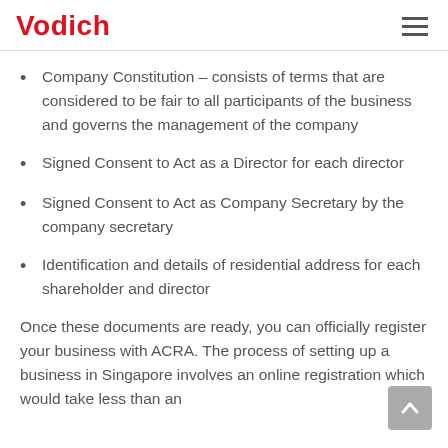Vodich
Company Constitution – consists of terms that are considered to be fair to all participants of the business and governs the management of the company
Signed Consent to Act as a Director for each director
Signed Consent to Act as Company Secretary by the company secretary
Identification and details of residential address for each shareholder and director
Once these documents are ready, you can officially register your business with ACRA. The process of setting up a business in Singapore involves an online registration which would take less than an